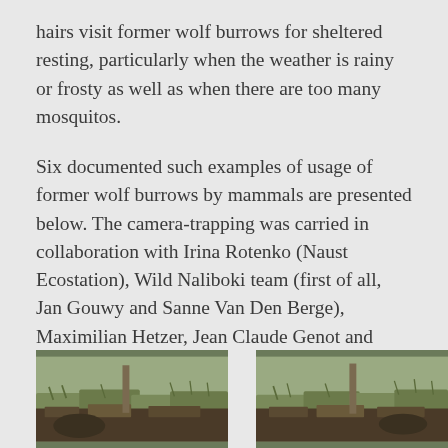hairs visit former wolf burrows for sheltered resting, particularly when the weather is rainy or frosty as well as when there are too many mosquitos.
Six documented such examples of usage of former wolf burrows by mammals are presented below. The camera-trapping was carried in collaboration with Irina Rotenko (Naust Ecostation), Wild Naliboki team (first of all, Jan Gouwy and Sanne Van Den Berge), Maximilian Hetzer, Jean Claude Genot and Annick Schnitzler.
[Figure (photo): Outdoor wildlife camera trap photo showing ground-level view of forest floor with grass and vegetation, partial view of animal near wolf burrow]
[Figure (photo): Outdoor wildlife camera trap photo showing ground-level view of forest floor with grass and vegetation near wolf burrow]